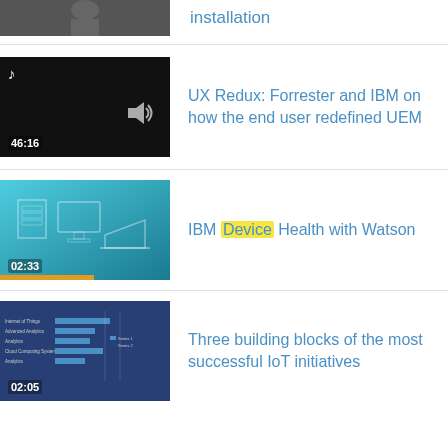[Figure (screenshot): Partial video thumbnail at top, dark/grey, cropped]
installation
[Figure (screenshot): Dark black video thumbnail showing audio note icon, speaker icon, and timestamp 46:16]
UX Redux: Forrester and IBM on how the end user redefined UEM
[Figure (screenshot): Teal/blue video thumbnail with device illustrations and orange progress bar, timestamp 02:33]
IBM Device Health with Watson
[Figure (screenshot): Dark blue slide thumbnail with bar chart content and timestamp 02:05]
Three building blocks of the most successful IoT initiatives